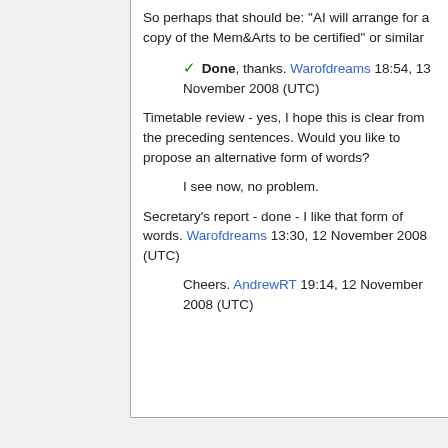So perhaps that should be: "AI will arrange for a copy of the Mem&Arts to be certified" or similar
✓ Done, thanks. Warofdreams 18:54, 13 November 2008 (UTC)
Timetable review - yes, I hope this is clear from the preceding sentences. Would you like to propose an alternative form of words?
I see now, no problem.
Secretary's report - done - I like that form of words. Warofdreams 13:30, 12 November 2008 (UTC)
Cheers. AndrewRT 19:14, 12 November 2008 (UTC)